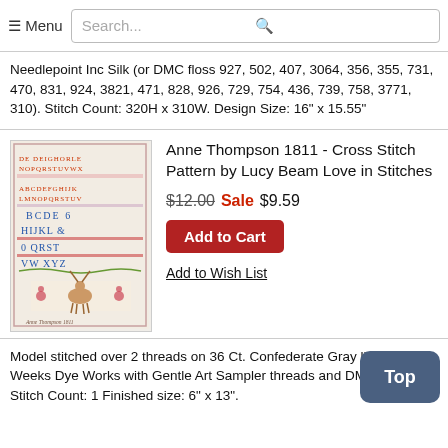☰ Menu  Search...
Needlepoint Inc Silk (or DMC floss 927, 502, 407, 3064, 356, 355, 731, 470, 831, 924, 3821, 471, 828, 926, 729, 754, 436, 739, 758, 3771, 310). Stitch Count: 320H x 310W. Design Size: 16" x 15.55"
[Figure (photo): Cross stitch sampler showing alphabet letters, numbers, and a deer motif on light fabric, labeled Anne Thompson 1811]
Anne Thompson 1811 - Cross Stitch Pattern by Lucy Beam Love in Stitches
$12.00 Sale $9.59
Add to Cart
Add to Wish List
Model stitched over 2 threads on 36 Ct. Confederate Gray linen by Weeks Dye Works with Gentle Art Sampler threads and DMC floss. Stitch Count: 1 Finished size: 6" x 13".